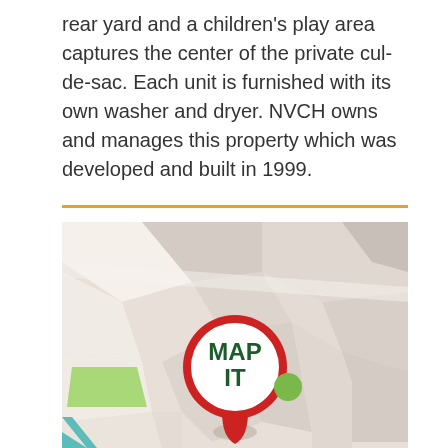rear yard and a children's play area captures the center of the private cul-de-sac. Each unit is furnished with its own washer and dryer. NVCH owns and manages this property which was developed and built in 1999.
[Figure (map): A stylized map illustration with a red location pin marker in the center bearing the text 'MAP IT' in bold green letters. The map shows streets, blocks, and a green park area.]